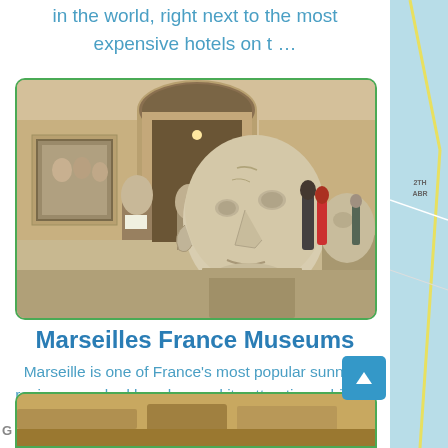in the world, right next to the most expensive hotels on t …
[Figure (photo): Museum interior with ancient Roman or Greek marble busts/sculpture heads on display pedestals, visitors visible in background, arched architectural details]
Marseilles France Museums
Marseille is one of France's most popular sunny regions - soaked beaches and its attractions shine through every time …
[Figure (photo): Partial view of another image at bottom, appears to show a vehicle or transport interior]